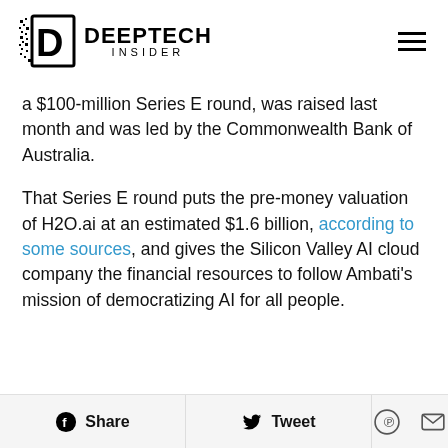[Figure (logo): DeepTech Insider logo with stylized D icon and brand name]
a $100-million Series E round, was raised last month and was led by the Commonwealth Bank of Australia.
That Series E round puts the pre-money valuation of H2O.ai at an estimated $1.6 billion, according to some sources, and gives the Silicon Valley AI cloud company the financial resources to follow Ambati's mission of democratizing AI for all people.
Share   Tweet   [Pinterest icon]   [Email icon]